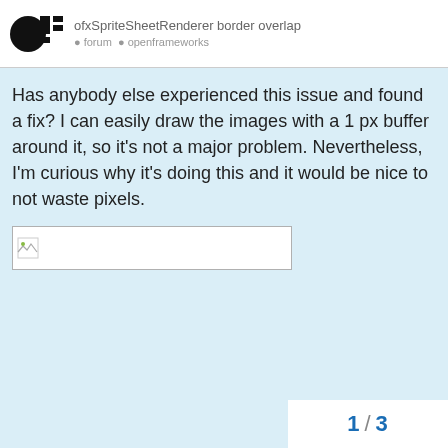ofxSpriteSheetRenderer border overlap
Has anybody else experienced this issue and found a fix? I can easily draw the images with a 1 px buffer around it, so it's not a major problem. Nevertheless, I'm curious why it's doing this and it would be nice to not waste pixels.
[Figure (screenshot): Broken image placeholder inside a white bordered rectangle]
1 / 3